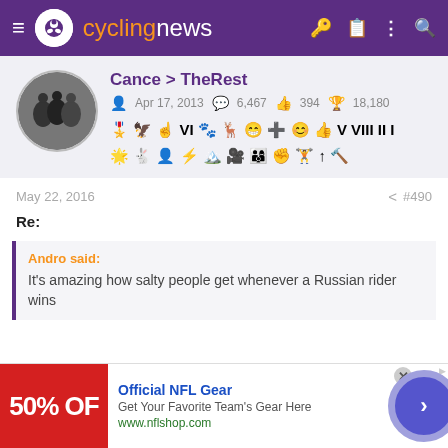cyclingnews
Cance > TheRest | Apr 17, 2013 | 6,467 | 394 | 18,180
[Figure (other): User badge icons row]
May 22, 2016 | #490
Re:
Andro said: It's amazing how salty people get whenever a Russian rider wins
[Figure (other): Official NFL Gear advertisement banner with 50% OFF red box, NFL Shop URL, and navigation arrow button]